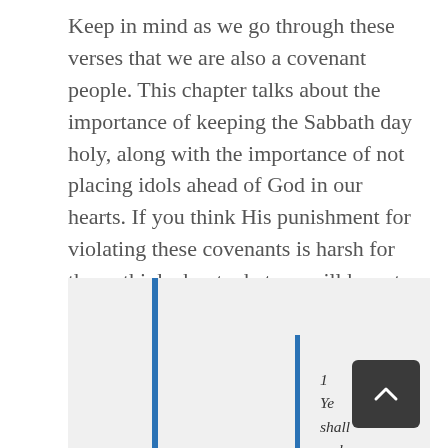Keep in mind as we go through these verses that we are also a covenant people. This chapter talks about the importance of keeping the Sabbath day holy, along with the importance of not placing idols ahead of God in our hearts. If you think His punishment for violating these covenants is harsh for them, think about what we will have to suffer if we violate these same commandments!
1 Ye shall make you no idols nor graven image, neither rear you up a standing image, neither shall ye set up any image of stone in your land, to bow down unto it: for I am the Lord your God.